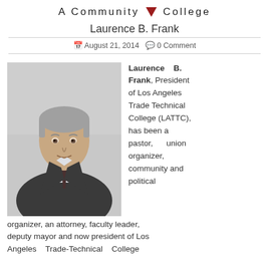A Community College
Laurence B. Frank
August 21, 2014  0 Comment
[Figure (photo): Portrait photo of Laurence B. Frank, a middle-aged man with gray hair wearing a dark suit and tie, standing in front of a blurred background.]
Laurence B. Frank, President of Los Angeles Trade Technical College (LATTC), has been a pastor, union organizer, community and political organizer, an attorney, faculty leader, deputy mayor and now president of Los Angeles Trade-Technical College